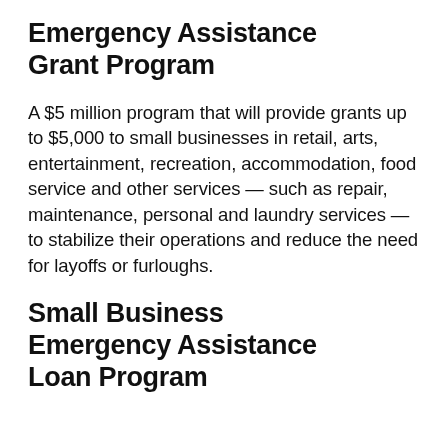Emergency Assistance Grant Program
A $5 million program that will provide grants up to $5,000 to small businesses in retail, arts, entertainment, recreation, accommodation, food service and other services — such as repair, maintenance, personal and laundry services — to stabilize their operations and reduce the need for layoffs or furloughs.
Small Business Emergency Assistance Loan Program